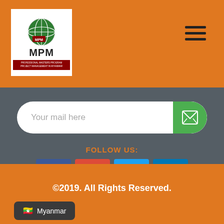[Figure (logo): MPM Institute of Technology logo with globe icon, red subtitle bar reading PROFESSIONAL MASTERS PROGRAM / PROJECT MANAGEMENT IN MYANMAR]
[Figure (other): Hamburger menu icon (three horizontal lines)]
Your mail here
FOLLOW US:
[Figure (other): Social media icons: Facebook, Google+, Twitter, LinkedIn]
©2019. All Rights Reserved.
Myanmar